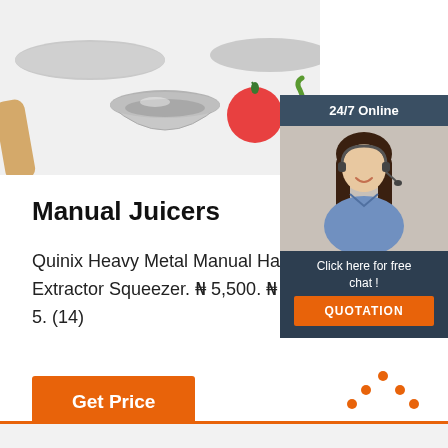[Figure (photo): Photo of stainless steel mixing bowls with a tomato and green chili pepper on a white surface]
[Figure (photo): 24/7 Online chat widget with photo of a smiling woman with headset, 'Click here for free chat!' text, and orange QUOTATION button]
Manual Juicers
Quinix Heavy Metal Manual Hand Juicer Extractor Squeezer. ₦ 5,500. ₦ 14,000 out of 5. (14)
[Figure (other): Orange 'Get Price' button]
[Figure (logo): TOP scroll-to-top icon in orange dots above the word TOP]